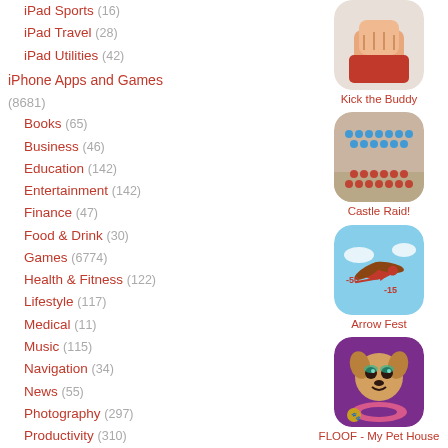iPad Sports (16)
iPad Travel (28)
iPad Utilities (42)
iPhone Apps and Games (8681)
Books (65)
Business (46)
Education (142)
Entertainment (142)
Finance (47)
Food & Drink (30)
Games (6774)
Health & Fitness (122)
Lifestyle (117)
Medical (11)
Music (115)
Navigation (34)
News (55)
Photography (297)
Productivity (310)
Reference (30)
Social Networking (142)
Sports (28)
Travel (52)
[Figure (screenshot): Kick the Buddy app icon]
Kick the Buddy
[Figure (screenshot): Castle Raid! app icon]
Castle Raid!
[Figure (screenshot): Arrow Fest app icon]
Arrow Fest
[Figure (screenshot): FLOOF - My Pet House app icon]
FLOOF - My Pet House
[Figure (screenshot): Fruit ninja style game app icon]